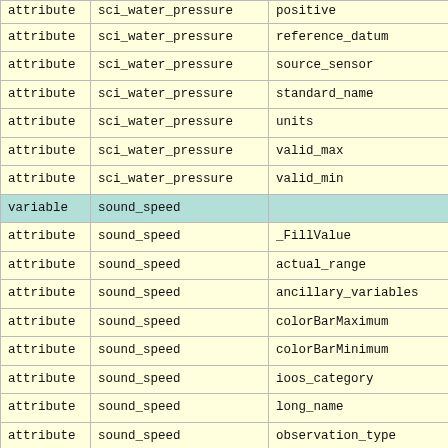|  |  |  |
| --- | --- | --- |
| attribute | sci_water_pressure | positive |
| attribute | sci_water_pressure | reference_datum |
| attribute | sci_water_pressure | source_sensor |
| attribute | sci_water_pressure | standard_name |
| attribute | sci_water_pressure | units |
| attribute | sci_water_pressure | valid_max |
| attribute | sci_water_pressure | valid_min |
| variable | sound_speed |  |
| attribute | sound_speed | _FillValue |
| attribute | sound_speed | actual_range |
| attribute | sound_speed | ancillary_variables |
| attribute | sound_speed | colorBarMaximum |
| attribute | sound_speed | colorBarMinimum |
| attribute | sound_speed | ioos_category |
| attribute | sound_speed | long_name |
| attribute | sound_speed | observation_type |
| attribute | sound_speed | standard_name |
| attribute | sound_speed | units |
| attribute | sound_speed | valid_max |
| attribute | sound_speed | valid_min |